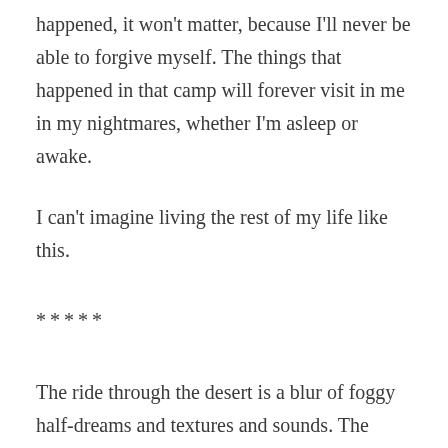happened, it won't matter, because I'll never be able to forgive myself. The things that happened in that camp will forever visit in me in my nightmares, whether I'm asleep or awake.
I can't imagine living the rest of my life like this.
*****
The ride through the desert is a blur of foggy half-dreams and textures and sounds. The movement of the horse beneath me is a lulling one, making it difficult — impossible — to ward off sleep. Unfortunate, because sleep is an enemy to be avoided; it brings with it images